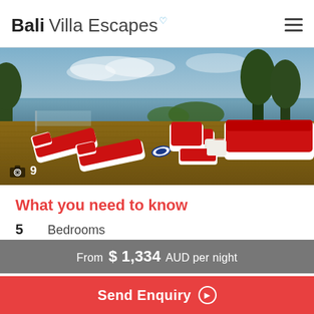Bali Villa Escapes
[Figure (photo): Rooftop terrace with red-cushioned white wicker loungers and sofa set overlooking the ocean, with trees and sky in background. Photo badge: camera icon and '9'.]
What you need to know
5  Bedrooms
10  People
From $ 1,334 AUD per night
Send Enquiry